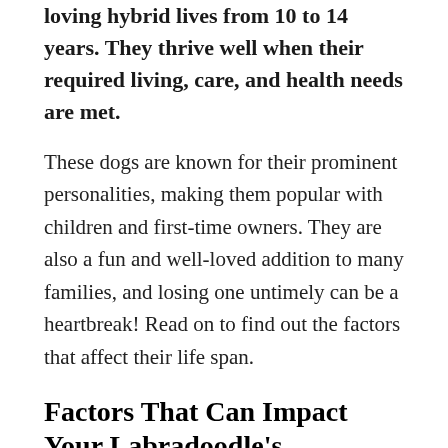loving hybrid lives from 10 to 14 years. They thrive well when their required living, care, and health needs are met.
These dogs are known for their prominent personalities, making them popular with children and first-time owners. They are also a fun and well-loved addition to many families, and losing one untimely can be a heartbreak! Read on to find out the factors that affect their life span.
Factors That Can Impact Your Labradoodle's